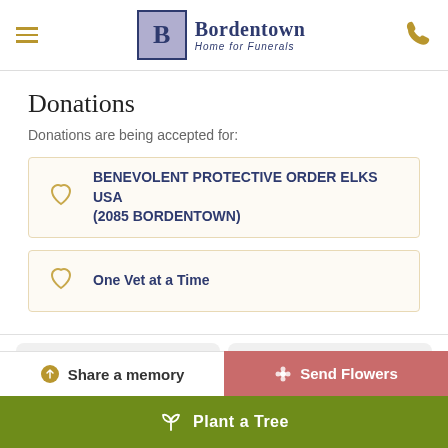Bordentown Home for Funerals
Donations
Donations are being accepted for:
BENEVOLENT PROTECTIVE ORDER ELKS USA (2085 BORDENTOWN)
One Vet at a Time
Share a memory
Send Flowers
Plant a Tree